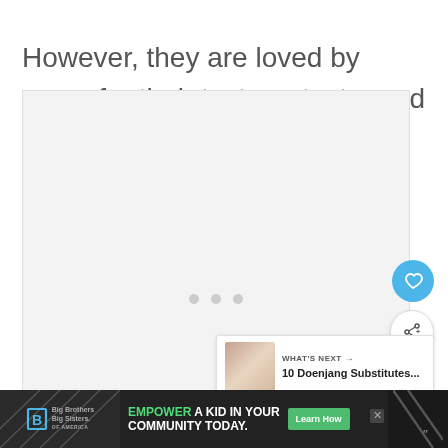However, they are loved by many for their texture, taste, and affordable cost.
[Figure (photo): Large image placeholder area with light grey background, three navigation dots at bottom center, a blue heart button and white share button on right edge, and a 'What's Next' card showing '10 Doenjang Substitutes...']
[Figure (screenshot): Advertisement banner at bottom: Big Brothers Big Sisters logo on left, 'EMPOWER A KID IN YOUR COMMUNITY TODAY.' text in center with Learn How green button, close X button, and diagonal pattern on right]